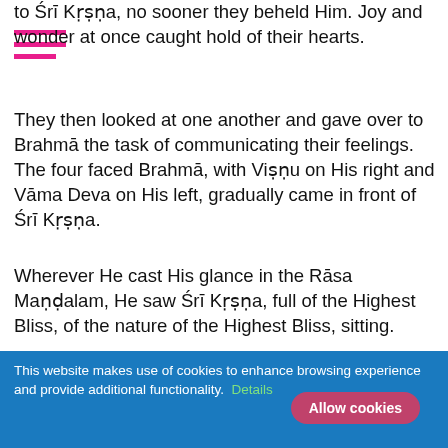to Śrī Kṛṣṇa, no sooner they beheld Him. Joy and wonder at once caught hold of their hearts.
They then looked at one another and gave over to Brahmā the task of communicating their feelings. The four faced Brahmā, with Viṣṇu on His right and Vāma Deva on His left, gradually came in front of Śrī Kṛṣṇa.
Wherever He cast His glance in the Rāsa Maṇḍalam, He saw Śrī Kṛṣṇa, full of the Highest Bliss, of the nature of the Highest Bliss, sitting.
All have turned out Kṛṣṇas; their seats were all uniform; all were two armed and with flutes in their hands; on everyone's neck is the forest garland;
This website makes use of cookies to enhance browsing experience and provide additional functionality. Details Allow cookies